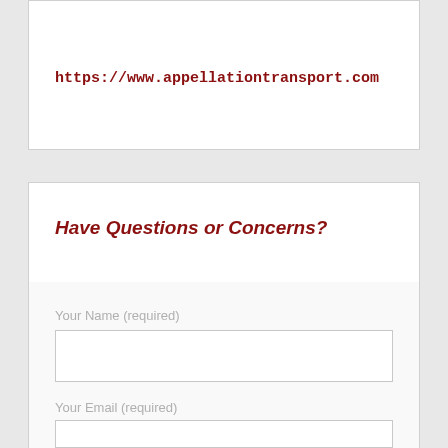https://www.appellationtransport.com
Have Questions or Concerns?
Your Name (required)
Your Email (required)